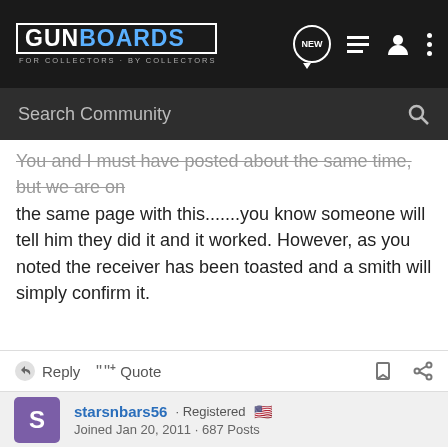GUNBOARDS · FOR COLLECTORS · BY COLLECTORS
Search Community
You and I must have posted about the same time, but we are on the same page with this.......you know someone will tell him they did it and it worked. However, as you noted the receiver has been toasted and a smith will simply confirm it.
Reply  Quote
starsnbars56 · Registered · Joined Jan 20, 2011 · 687 Posts
#4 · Mar 22, 2012
FeelthySanchez said:
HIGHEST-RATED GEAR